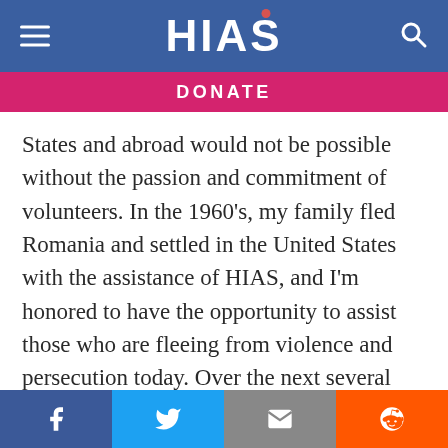HIAS
DONATE
States and abroad would not be possible without the passion and commitment of volunteers. In the 1960’s, my family fled Romania and settled in the United States with the assistance of HIAS, and I’m honored to have the opportunity to assist those who are fleeing from violence and persecution today. Over the next several months, we will continue building a sustainable and comprehensive direct-service volunteer
Facebook | Twitter | Email | Reddit